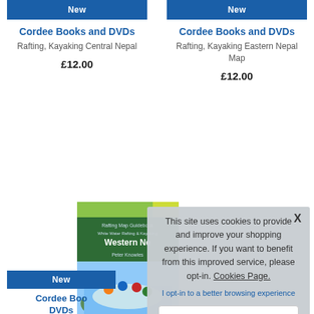New
Cordee Books and DVDs
Rafting, Kayaking Central Nepal
£12.00
New
Cordee Books and DVDs
Rafting, Kayaking Eastern Nepal Map
£12.00
[Figure (photo): Book cover for Western Nepal Rafting and Kayaking guidebook, showing rafters on a river]
New
Cordee Boo DVDs
Rafting, Kayaking
River Spey Canoe Guide
This site uses cookies to provide and improve your shopping experience. If you want to benefit from this improved service, please opt-in. Cookies Page.
I opt-in to a better browsing experience
Accept Cookies